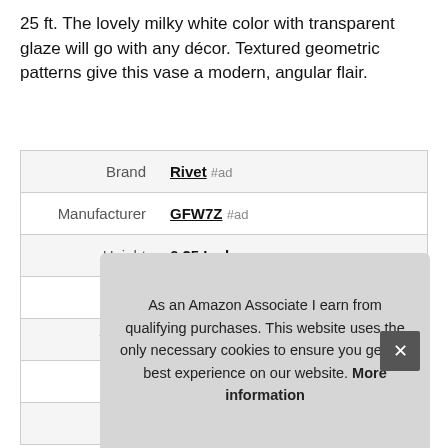25 ft. The lovely milky white color with transparent glaze will go with any décor. Textured geometric patterns give this vase a modern, angular flair.
|  |  |
| --- | --- |
| Brand | Rivet #ad |
| Manufacturer | GFW7Z #ad |
| Height | 6.25 Inches |
| Length | 6.25 Inches |
| Weight | 3 Pounds |
| Width | 12.13 Inches |
| P |  |
As an Amazon Associate I earn from qualifying purchases. This website uses the only necessary cookies to ensure you get the best experience on our website. More information